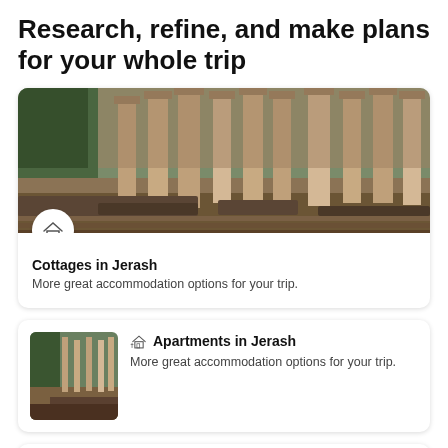Research, refine, and make plans for your whole trip
[Figure (photo): Photo of ancient ruins in Jerash with stone columns and archaeological remnants. A circular icon with a cottage/home symbol overlays the bottom-left of the image.]
Cottages in Jerash
More great accommodation options for your trip.
[Figure (photo): Thumbnail photo of ancient ruins in Jerash]
Apartments in Jerash
More great accommodation options for your trip.